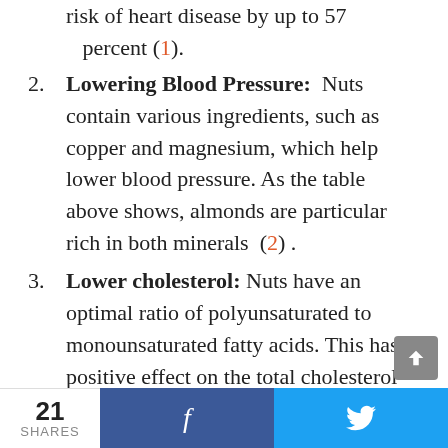risk of heart disease by up to 57 percent (1).
2. Lowering Blood Pressure: Nuts contain various ingredients, such as copper and magnesium, which help lower blood pressure. As the table above shows, almonds are particular rich in both minerals (2).
3. Lower cholesterol: Nuts have an optimal ratio of polyunsaturated to monounsaturated fatty acids. This has a positive effect on the total cholesterol level. Regular consumption of nuts also helps raise health – promoting HDL
21 SHARES  f  (twitter bird)